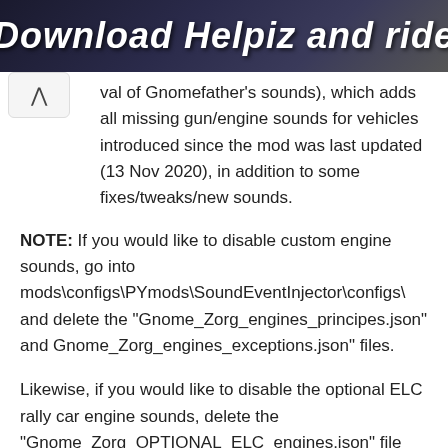[Figure (photo): Dark banner image with bold italic white text reading 'Download Helpiz and ride' on a dark/blurred background]
val of Gnomefather's sounds), which adds all missing gun/engine sounds for vehicles introduced since the mod was last updated (13 Nov 2020), in addition to some fixes/tweaks/new sounds.
NOTE: If you would like to disable custom engine sounds, go into mods\configs\PYmods\SoundEventInjector\configs\ and delete the "Gnome_Zorg_engines_principes.json" and Gnome_Zorg_engines_exceptions.json" files.
Likewise, if you would like to disable the optional ELC rally car engine sounds, delete the "Gnome_Zorg_OPTIONAL_ELC_engines.json" file from the above folder.
IMPORTANT: Not all vehicles have custom engine...